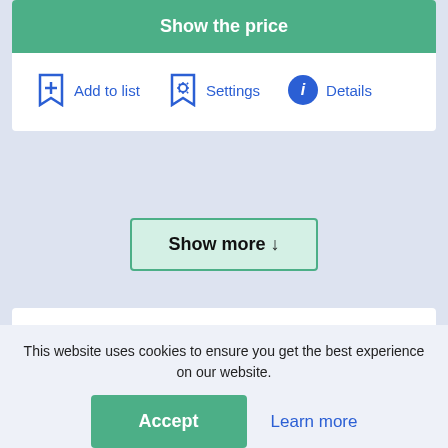[Figure (screenshot): Green 'Show the price' button at the top of a white card]
Add to list
Settings
Details
[Figure (screenshot): Show more button with down arrow, outlined in green on light green background]
Popular catalytic converters Proton
This website uses cookies to ensure you get the best experience on our website.
[Figure (screenshot): Accept and Learn more buttons for cookie consent]